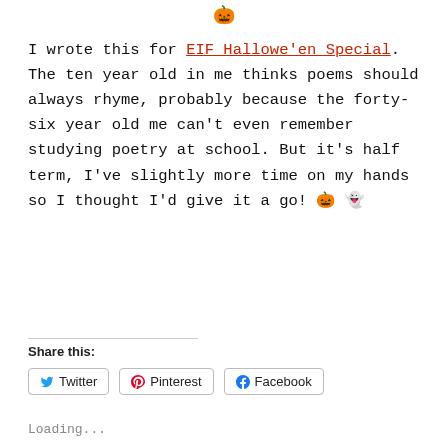[Figure (other): Orange pumpkin emoji at top center]
I wrote this for EIF Hallowe'en Special. The ten year old in me thinks poems should always rhyme, probably because the forty-six year old me can't even remember studying poetry at school. But it's half term, I've slightly more time on my hands so I thought I'd give it a go! 🎃 👻
Share this:
Twitter  Pinterest  Facebook
Loading...